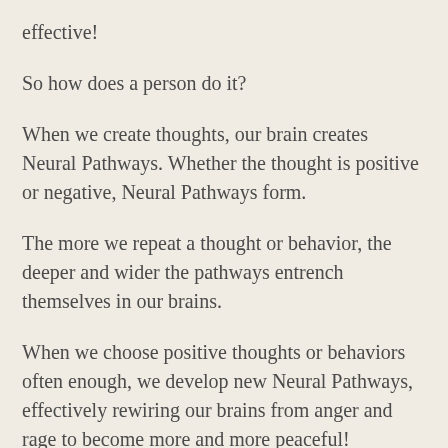effective!
So how does a person do it?
When we create thoughts, our brain creates Neural Pathways. Whether the thought is positive or negative, Neural Pathways form.
The more we repeat a thought or behavior, the deeper and wider the pathways entrench themselves in our brains.
When we choose positive thoughts or behaviors often enough, we develop new Neural Pathways, effectively rewiring our brains from anger and rage to become more and more peaceful!